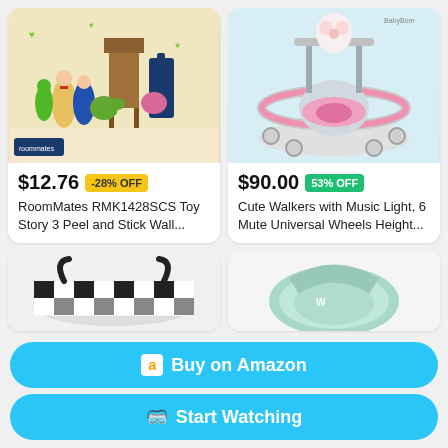[Figure (photo): Toy Story 3 wall decals on a child's room wall with Woody, Buzz, Rex and other characters]
$12.76  -28% OFF
RoomMates RMK1428SCS Toy Story 3 Peel and Stick Wall...
[Figure (photo): Pink baby walker with music light and 6 mute universal wheels on a white surface]
$90.00  53% OFF
Cute Walkers with Music Light, 6 Mute Universal Wheels Height...
[Figure (photo): Black and white checkered storage basket]
[Figure (photo): Light green/mint baby seat cushion]
Buy on Amazon
Start Watching